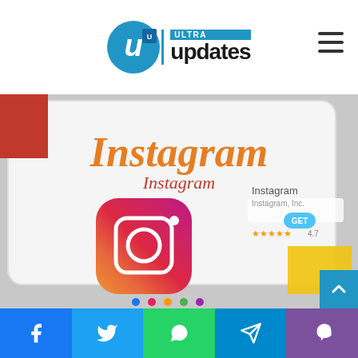Ultra Updates — logo header with hamburger menu
[Figure (photo): Close-up photo of a tablet/smartphone screen showing the Instagram app page with the Instagram logo (cursive script in orange/red) and the Instagram app icon (gradient purple-pink-orange camera icon), with a 'Get' button visible on what appears to be an app store page.]
Social share buttons: Facebook, Twitter, WhatsApp, Telegram, Viber